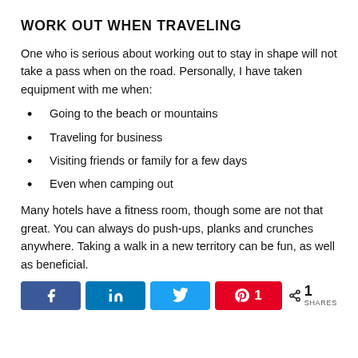WORK OUT WHEN TRAVELING
One who is serious about working out to stay in shape will not take a pass when on the road. Personally, I have taken equipment with me when:
Going to the beach or mountains
Traveling for business
Visiting friends or family for a few days
Even when camping out
Many hotels have a fitness room, though some are not that great. You can always do push-ups, planks and crunches anywhere. Taking a walk in a new territory can be fun, as well as beneficial.